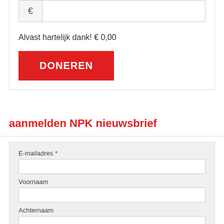€
Alvast hartelijk dank! € 0,00
DONEREN
aanmelden NPK nieuwsbrief
E-mailadres *
Voornaam
Achternaam
Aanmelden